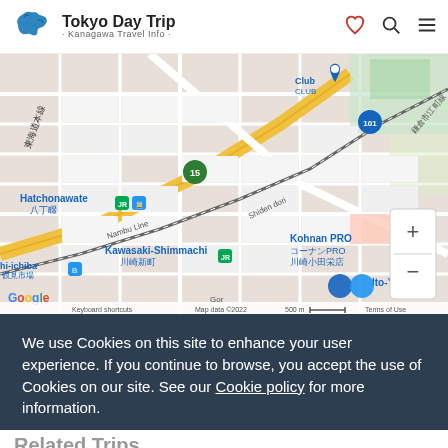Tokyo Day Trip · Kanagawa Travel Info ·
[Figure (map): Google Maps showing Kawasaki area in Japan with landmarks including Hatchonawate 八丁畷, Kawasaki-Shimmachi 川崎新町, Kohnan PRO コーナンPRO 川崎小田栄店, Ito-Yokado, Club CLUB marker, Nambu Line, Shiden dori, route 15, route 101. Map data ©2022. Scale: 500m.]
We use Cookies on this site to enhance your user experience. If you continue to browse, you accept the use of Cookies on our site. See our Cookie policy for more information.
Accept Cookies
Related Trips